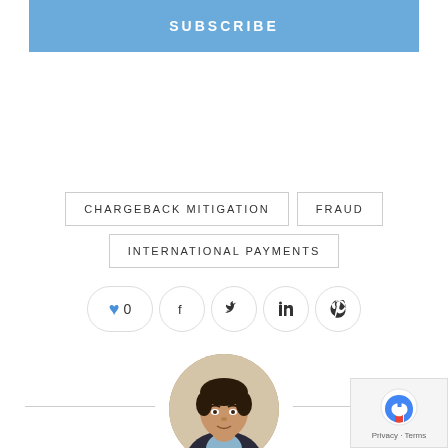SUBSCRIBE
CHARGEBACK MITIGATION
FRAUD
INTERNATIONAL PAYMENTS
[Figure (other): Social sharing bar with heart/like button showing 0 likes, Facebook, Twitter, LinkedIn, and Pinterest icons]
[Figure (photo): Circular author profile photo of a young man in a suit with dark hair]
[Figure (other): reCAPTCHA Privacy - Terms badge in bottom right corner]